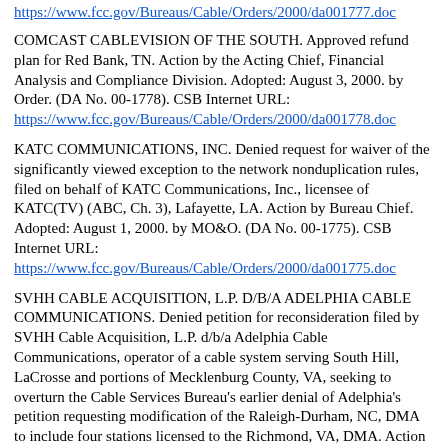https://www.fcc.gov/Bureaus/Cable/Orders/2000/da001777.doc (partial/truncated link at top)
COMCAST CABLEVISION OF THE SOUTH. Approved refund plan for Red Bank, TN. Action by the Acting Chief, Financial Analysis and Compliance Division. Adopted: August 3, 2000. by Order. (DA No. 00-1778). CSB Internet URL: https://www.fcc.gov/Bureaus/Cable/Orders/2000/da001778.doc
KATC COMMUNICATIONS, INC. Denied request for waiver of the significantly viewed exception to the network nonduplication rules, filed on behalf of KATC Communications, Inc., licensee of KATC(TV) (ABC, Ch. 3), Lafayette, LA. Action by Bureau Chief. Adopted: August 1, 2000. by MO&O. (DA No. 00-1775). CSB Internet URL: https://www.fcc.gov/Bureaus/Cable/Orders/2000/da001775.doc
SVHH CABLE ACQUISITION, L.P. D/B/A ADELPHIA CABLE COMMUNICATIONS. Denied petition for reconsideration filed by SVHH Cable Acquisition, L.P. d/b/a Adelphia Cable Communications, operator of a cable system serving South Hill, LaCrosse and portions of Mecklenburg County, VA, seeking to overturn the Cable Services Bureau's earlier denial of Adelphia's petition requesting modification of the Raleigh-Durham, NC, DMA to include four stations licensed to the Richmond, VA, DMA. Action by the Deputy Chief, Cable Services Bureau. Adopted: August 3, 2000. by MO&O. (DA No. 00-1776). CSB